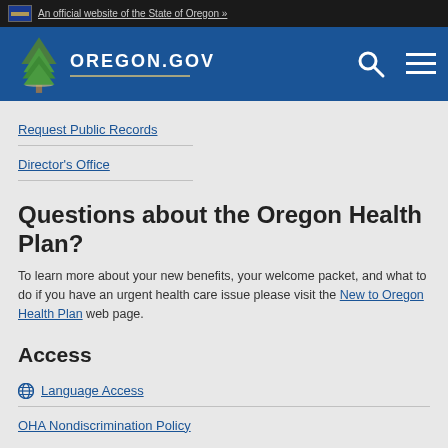An official website of the State of Oregon »
[Figure (logo): Oregon.gov logo with tree and blue header navigation bar with search and menu icons]
Request Public Records
Director's Office
Questions about the Oregon Health Plan?
To learn more about your new benefits, your welcome packet, and what to do if you have an urgent health care issue please visit the New to Oregon Health Plan web page.
Access
Language Access
OHA Nondiscrimination Policy